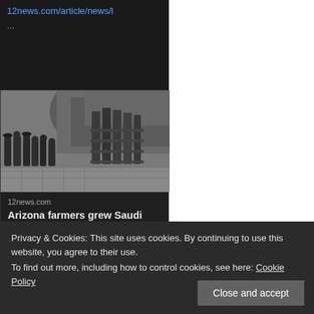12news.com/article/news/l
...
[Figure (photo): Black and white historical photograph showing people standing near what appears to be a dam or water infrastructure with metal gates and rocky terrain in the background]
12news.com
Arizona farmers grew Saudi Arabia's agriculture empir...
7  40
Privacy & Cookies: This site uses cookies. By continuing to use this website, you agree to their use.
To find out more, including how to control cookies, see here: Cookie Policy
Close and accept
@angeleye2401